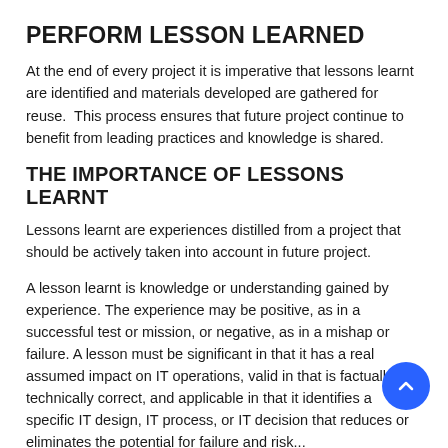PERFORM LESSON LEARNED
At the end of every project it is imperative that lessons learnt are identified and materials developed are gathered for reuse.  This process ensures that future project continue to benefit from leading practices and knowledge is shared.
THE IMPORTANCE OF LESSONS LEARNT
Lessons learnt are experiences distilled from a project that should be actively taken into account in future project.
A lesson learnt is knowledge or understanding gained by experience. The experience may be positive, as in a successful test or mission, or negative, as in a mishap or failure. A lesson must be significant in that it has a real assumed impact on IT operations, valid in that is factually and technically correct, and applicable in that it identifies a specific IT design, IT process, or IT decision that reduces or eliminates the potential for failure and risk...